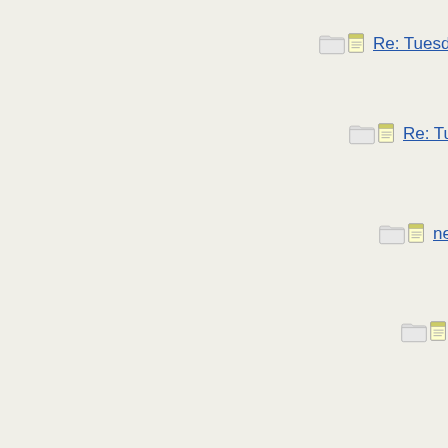Re: Tuesday's Wor...
Re: Tuesday's W...
next !
Re: next !
Re: next !
Re: nex...
Re: n...
mo...
R...
...